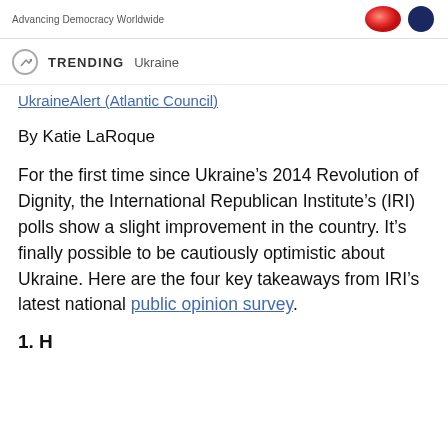Advancing Democracy Worldwide
TRENDING  Ukraine
UkraineAlert (Atlantic Council)
By Katie LaRoque
For the first time since Ukraine’s 2014 Revolution of Dignity, the International Republican Institute’s (IRI) polls show a slight improvement in the country. It’s finally possible to be cautiously optimistic about Ukraine. Here are the four key takeaways from IRI’s latest national public opinion survey.
1. H...